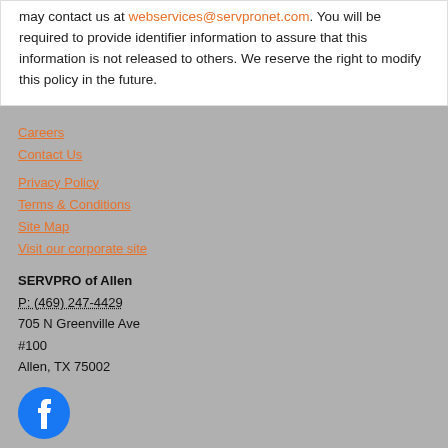may contact us at webservices@servpronet.com. You will be required to provide identifier information to assure that this information is not released to others. We reserve the right to modify this policy in the future.
Careers
Contact Us
Privacy Policy
Terms & Conditions
Site Map
Visit our corporate site
SERVPRO of Allen
P: (469) 247-4429
705 N Greenville Ave
#100
Allen, TX 75002
[Figure (logo): Facebook circular logo icon in blue and white]
© Servpro Industries, LLC. – All services in the U.S. performed by independently owned and operated franchises of Servpro Industries, LLC.
© Servpro Industries (Canada) ULC – All services in Canada performed by independently owned and operated franchises of Servpro Industries (Canada) ULC.